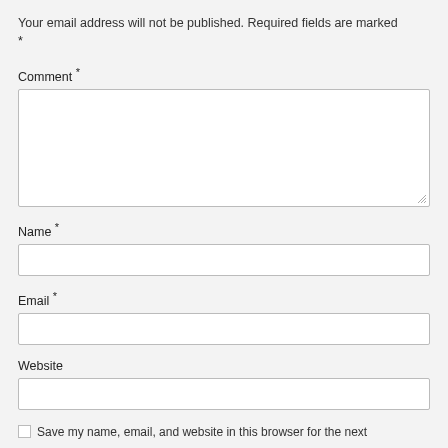Your email address will not be published. Required fields are marked *
Comment *
Name *
Email *
Website
Save my name, email, and website in this browser for the next